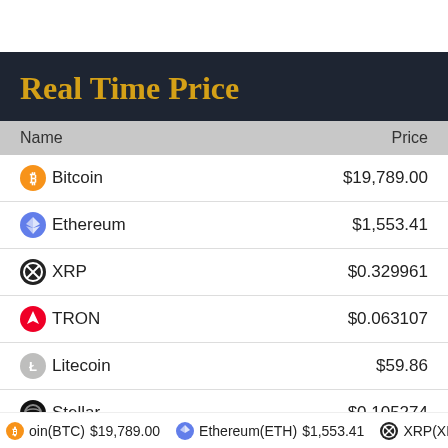Real Time Price
| Name | Price |
| --- | --- |
| Bitcoin | $19,789.00 |
| Ethereum | $1,553.41 |
| XRP | $0.329961 |
| TRON | $0.063107 |
| Litecoin | $59.86 |
| Stellar | $0.105274 |
oin(BTC) $19,789.00   Ethereum(ETH) $1,553.41   XRP(XRP)